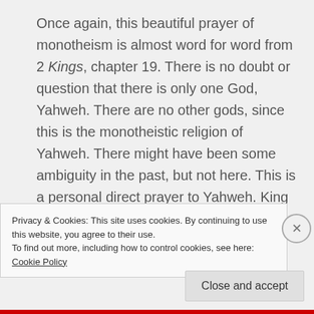Once again, this beautiful prayer of monotheism is almost word for word from 2 Kings, chapter 19. There is no doubt or question that there is only one God, Yahweh. There are no other gods, since this is the monotheistic religion of Yahweh. There might have been some ambiguity in the past, but not here. This is a personal direct prayer to Yahweh. King Hezekiah cries out to Yahweh, who is almighty in heaven, above all the kingdoms of the earth. He
Privacy & Cookies: This site uses cookies. By continuing to use this website, you agree to their use.
To find out more, including how to control cookies, see here: Cookie Policy
Close and accept